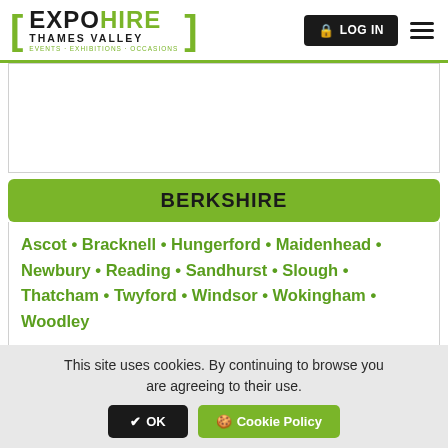EXPO HIRE THAMES VALLEY — EVENTS · EXHIBITIONS · OCCASIONS | LOG IN
BERKSHIRE
Ascot • Bracknell • Hungerford • Maidenhead • Newbury • Reading • Sandhurst • Slough • Thatcham • Twyford • Windsor • Wokingham • Woodley
This site uses cookies. By continuing to browse you are agreeing to their use. ✔ OK 🍪 Cookie Policy